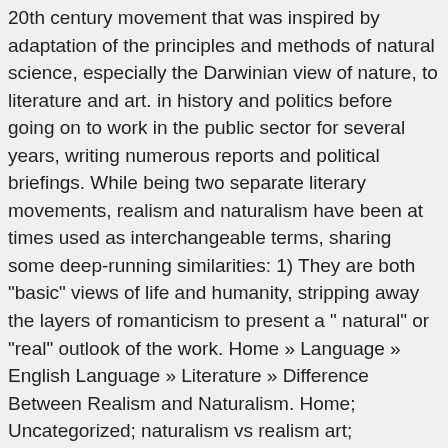20th century movement that was inspired by adaptation of the principles and methods of natural science, especially the Darwinian view of nature, to literature and art. in history and politics before going on to work in the public sector for several years, writing numerous reports and political briefings. While being two separate literary movements, realism and naturalism have been at times used as interchangeable terms, sharing some deep-running similarities: 1) They are both "basic" views of life and humanity, stripping away the layers of romanticism to present a " natural" or "real" outlook of the work. Home » Language » English Language » Literature » Difference Between Realism and Naturalism. Home; Uncategorized; naturalism vs realism art; naturalism vs realism art So, as you can see, these three movements are incredibly similar. This movement can be defined as a reaction against Romanticism. The definition states that, 'Naturalism in literature was a literary movement, that began in the late nineteenth century (1865-1900) in film, art, literature and theater that portrays common values of an ordinary individual.'Naturalism was a literary movement that